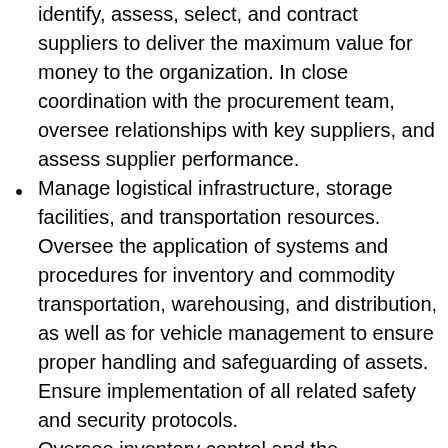identify, assess, select, and contract suppliers to deliver the maximum value for money to the organization. In close coordination with the procurement team, oversee relationships with key suppliers, and assess supplier performance.
Manage logistical infrastructure, storage facilities, and transportation resources. Oversee the application of systems and procedures for inventory and commodity transportation, warehousing, and distribution, as well as for vehicle management to ensure proper handling and safeguarding of assets. Ensure implementation of all related safety and security protocols.
Oversee inventory control and the management of comprehensive goods tracking and record-keeping systems throughout the whole supply chain cycle, from time of request until time of delivery. Ensure timely preparation and submission of various reports
Create and maintain the proper conditions for